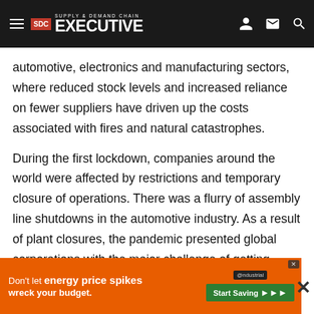Supply & Demand Chain Executive
automotive, electronics and manufacturing sectors, where reduced stock levels and increased reliance on fewer suppliers have driven up the costs associated with fires and natural catastrophes.
During the first lockdown, companies around the world were affected by restrictions and temporary closure of operations. There was a flurry of assembly line shutdowns in the automotive industry. As a result of plant closures, the pandemic presented global corporations with the major challenge of getting hundreds of supply links back on track. This was the most difficult task for production planners in the spring of 2020. The increased risk of supply chain shutdowns is driving the boards of many companies.
[Figure (infographic): Ad banner: Don't let energy price spikes wreck your budget. Start Saving. @ndustrial logo. Close button X.]